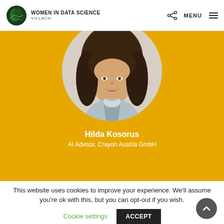WOMEN IN DATA SCIENCE VILLACH — MENU
[Figure (photo): Circular profile photo of Hilda Kosorus, a woman with brown hair wearing a light blue shirt, displayed against a yellow/golden background]
Hilda Kosorus
AI Advisor, Crayon Austria GmbH
This website uses cookies to improve your experience. We'll assume you're ok with this, but you can opt-out if you wish.
Cookie settings   ACCEPT